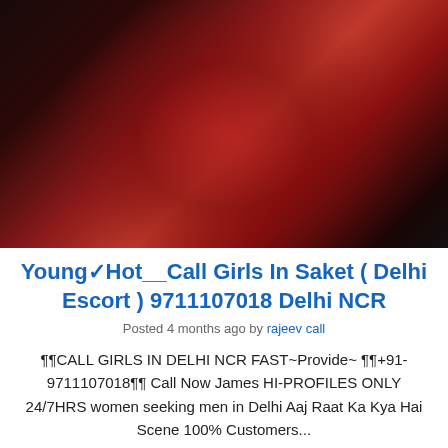[Figure (photo): Woman in red dress on dark background, face/head not visible]
Young✓Hot__Call Girls In Saket ( Delhi Escort ) 9711107018 Delhi NCR
Posted 4 months ago by rajeev call
¶¶CALL GIRLS IN DELHI NCR FAST~Provide~ ¶¶+91-9711107018¶¶ Call Now James HI-PROFILES ONLY 24/7HRS women seeking men in Delhi Aaj Raat Ka Kya Hai Scene 100% Customers...